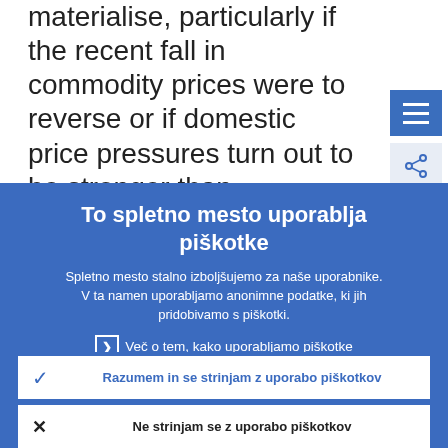materialise, particularly if the recent fall in commodity prices were to reverse or if domestic price pressures turn out to be stronger than assumed. It is therefore
To spletno mesto uporablja piškotke
Spletno mesto stalno izboljšujemo za naše uporabnike. V ta namen uporabljamo anonimne podatke, ki jih pridobivamo s piškotki.
Več o tem, kako uporabljamo piškotke
Razumem in se strinjam z uporabo piškotkov
Ne strinjam se z uporabo piškotkov